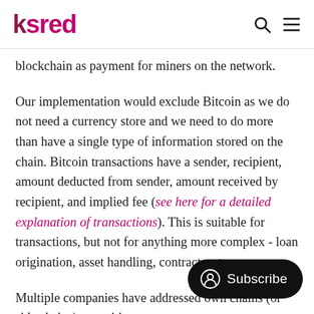ksred
blockchain as payment for miners on the network.
Our implementation would exclude Bitcoin as we do not need a currency store and we need to do more than have a single type of information stored on the chain. Bitcoin transactions have a sender, recipient, amount deducted from sender, amount received by recipient, and implied fee (see here for a detailed explanation of transactions). This is suitable for transactions, but not for anything more complex - loan origination, asset handling, contracts, etc.
Multiple companies have addressed own chains (or side chains), or writing new ones